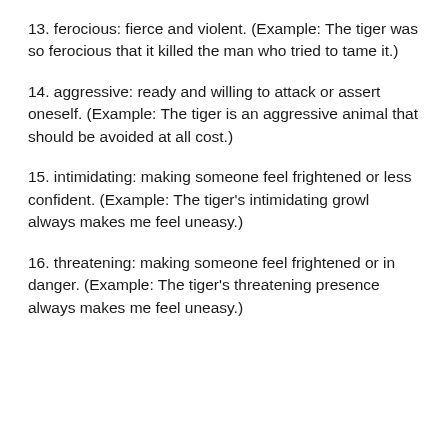13. ferocious: fierce and violent. (Example: The tiger was so ferocious that it killed the man who tried to tame it.)
14. aggressive: ready and willing to attack or assert oneself. (Example: The tiger is an aggressive animal that should be avoided at all cost.)
15. intimidating: making someone feel frightened or less confident. (Example: The tiger's intimidating growl always makes me feel uneasy.)
16. threatening: making someone feel frightened or in danger. (Example: The tiger's threatening presence always makes me feel uneasy.)